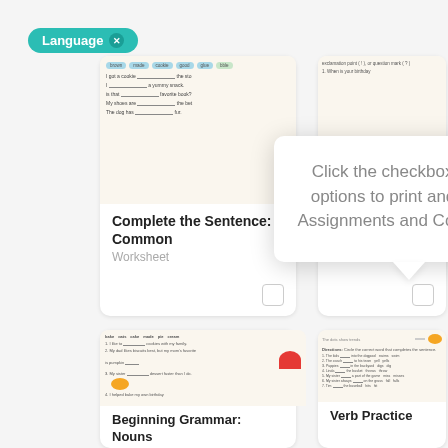Language ×
[Figure (screenshot): Worksheet thumbnail: Complete the Sentence: Common [Nouns] with word bubbles and fill-in-the-blank sentences]
Complete the Sentence: Common
Worksheet
[Figure (screenshot): Worksheet thumbnail: partial view with exclamation point / question mark exercise]
Worksheet
Click the checkbox for the options to print and add to Assignments and Collections.
[Figure (screenshot): Worksheet thumbnail: Beginning Grammar: Nouns with bake, oats, cake, made, pie, cream word bank and sentences with pie chart illustration]
Beginning Grammar: Nouns
[Figure (screenshot): Worksheet thumbnail: Verb Practice worksheet with directions and fill-in-the-blank verb exercises]
Verb Practice